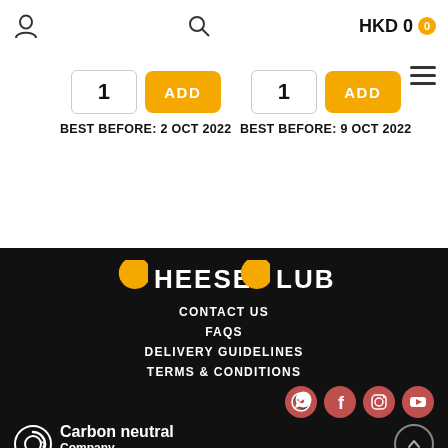HKD 0
1  ADD  BEST BEFORE: 2 OCT 2022
1  ADD  BEST BEFORE: 9 OCT 2022
[Figure (logo): Cheese Club logo with Pac-Man style characters replacing the C letters, in yellow/gold on black background]
CONTACT US
FAQS
DELIVERY GUIDELINES
TERMS & CONDITIONS
[Figure (infographic): Social media icons row: WhatsApp, Facebook, Instagram, YouTube - all on coral/red circular backgrounds]
[Figure (logo): Carbon neutral Company logo with circular arrow icon. ClimatePartner.com/17543-2110-1003]
© 2022. All Rights Reserved – Privacy Policy